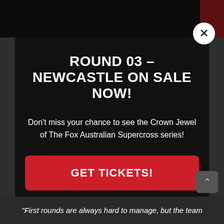ROUND 03 – NEWCASTLE ON SALE NOW!
Don't miss your chance to see the Crown Jewel of The Fox Australian Supercross series!
GET TICKETS!
"First rounds are always hard to manage, but the team